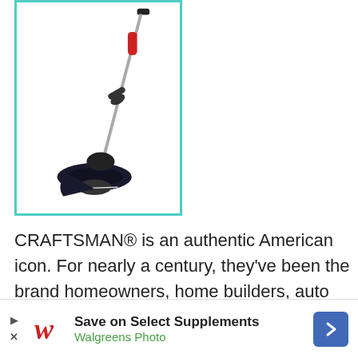[Figure (photo): A Craftsman string trimmer/weed eater shown on a white background with a teal/mint green border around the image. The trimmer has a long metal shaft, red and black handle, and a black cutting head at the bottom.]
CRAFTSMAN® is an authentic American icon. For nearly a century, they've been the brand homeowners, home builders, auto enthusiasts, and master mechanics trust. Craftsman has multiple plants in Massachusetts, Connecticut, New York State...
[Figure (other): Advertisement banner: Walgreens Photo ad with 'Save on Select Supplements' and 'Walgreens Photo' text, Walgreens W logo, play/close buttons, and a blue diamond arrow button.]